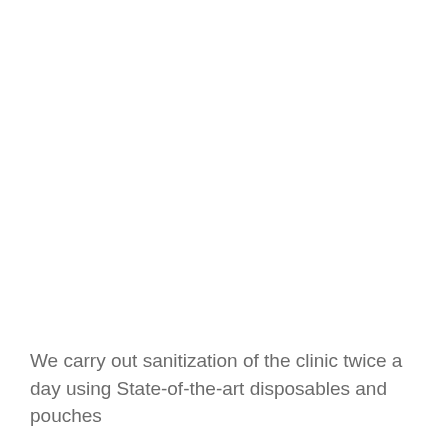We carry out sanitization of the clinic twice a day using State-of-the-art disposables and pouches